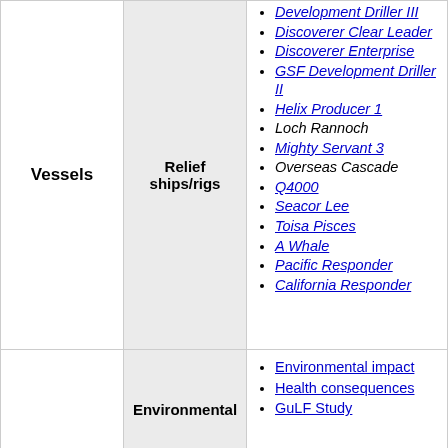| Vessels | Relief ships/rigs | List |
| --- | --- | --- |
| Vessels | Relief ships/rigs | Development Driller III, Discoverer Clear Leader, Discoverer Enterprise, GSF Development Driller II, Helix Producer 1, Loch Rannoch, Mighty Servant 3, Overseas Cascade, Q4000, Seacor Lee, Toisa Pisces, A Whale, Pacific Responder, California Responder |
|  | Environmental | Environmental impact, Health consequences, GuLF Study |